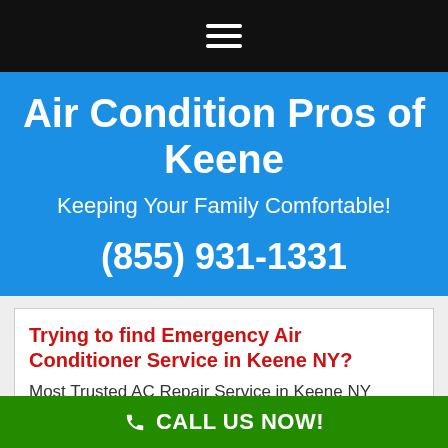Navigation bar with hamburger menu
Air Condition Pros of Keene
Keeping Your Family Comfortable!
(855) 931-1331
Trying to find Emergency Air Conditioner Service in Keene NY?
Most Trusted AC Repair Service in Keene NY
CALL US NOW!